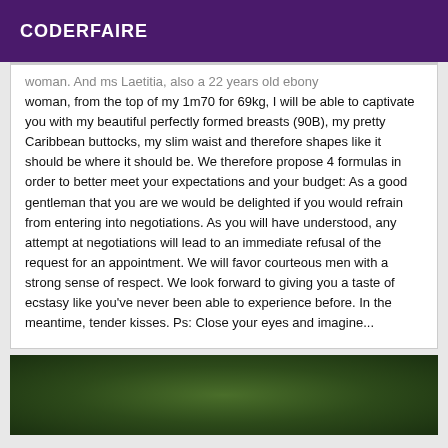CODERFAIRE
woman. And ms Laetitia, also a 22 years old ebony woman, from the top of my 1m70 for 69kg, I will be able to captivate you with my beautiful perfectly formed breasts (90B), my pretty Caribbean buttocks, my slim waist and therefore shapes like it should be where it should be. We therefore propose 4 formulas in order to better meet your expectations and your budget: As a good gentleman that you are we would be delighted if you would refrain from entering into negotiations. As you will have understood, any attempt at negotiations will lead to an immediate refusal of the request for an appointment. We will favor courteous men with a strong sense of respect. We look forward to giving you a taste of ecstasy like you've never been able to experience before. In the meantime, tender kisses. Ps: Close your eyes and imagine...
[Figure (photo): Dark green foliage photo strip at the bottom of the page]